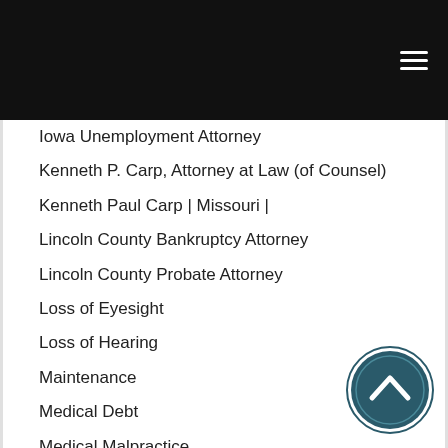Iowa Unemployment Attorney
Kenneth P. Carp, Attorney at Law (of Counsel)
Kenneth Paul Carp | Missouri |
Lincoln County Bankruptcy Attorney
Lincoln County Probate Attorney
Loss of Eyesight
Loss of Hearing
Maintenance
Medical Debt
Medical Malpractice
Military
Military Discharge Upgrade
Military Divorce
MILITARY TRAFFIC DEFENSE
Misconduct
Missouri Bankruptcy Attorney
[Figure (illustration): Circular scroll-to-top button with an upward chevron arrow on a dark teal background]